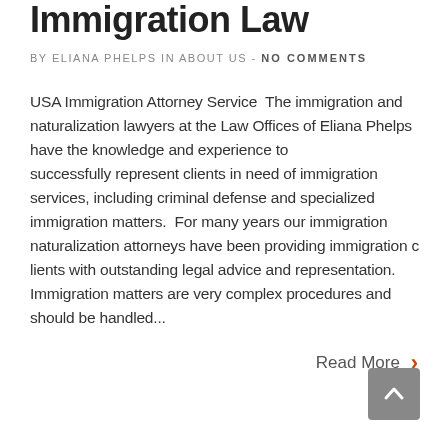Immigration Law
BY ELIANA PHELPS IN ABOUT US - NO COMMENTS
USA Immigration Attorney Service  The immigration and naturalization lawyers at the Law Offices of Eliana Phelps have the knowledge and experience to successfully represent clients in need of immigration services, including criminal defense and specialized immigration matters. For many years our immigration naturalization attorneys have been providing immigration clients with outstanding legal advice and representation. Immigration matters are very complex procedures and should be handled...
Read More >